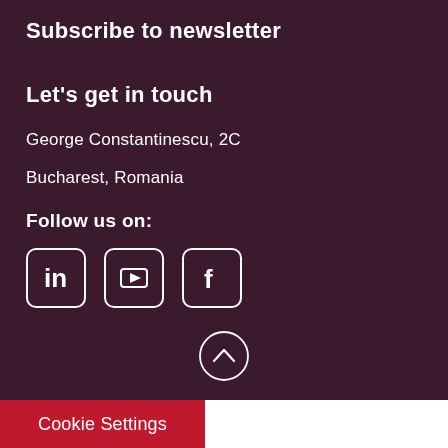Subscribe to newsletter
Let's get in touch
George Constantinescu, 2C
Bucharest, Romania
Follow us on:
[Figure (illustration): Social media icons: LinkedIn, YouTube, Facebook in rounded square outlines]
[Figure (illustration): Scroll-to-top button: circle with upward chevron]
Cookie Settings